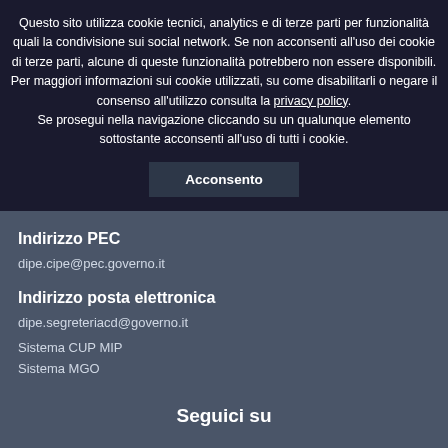Questo sito utilizza cookie tecnici, analytics e di terze parti per funzionalità quali la condivisione sui social network. Se non acconsenti all'uso dei cookie di terze parti, alcune di queste funzionalità potrebbero non essere disponibili. Per maggiori informazioni sui cookie utilizzati, su come disabilitarli o negare il consenso all'utilizzo consulta la privacy policy. Se prosegui nella navigazione cliccando su un qualunque elemento sottostante acconsenti all'uso di tutti i cookie.
Acconsento
Indirizzo PEC
dipe.cipe@pec.governo.it
Indirizzo posta elettronica
dipe.segreteriacd@governo.it
Sistema CUP MIP
Sistema MGO
Seguici su